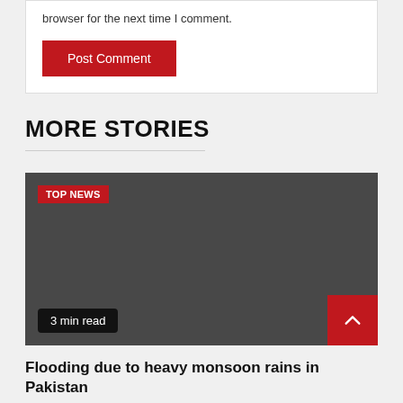browser for the next time I comment.
Post Comment
MORE STORIES
[Figure (photo): Dark gray placeholder image for a news story with 'TOP NEWS' badge in red top-left and '3 min read' badge in dark bottom-left, and red scroll-to-top button bottom-right.]
Flooding due to heavy monsoon rains in Pakistan